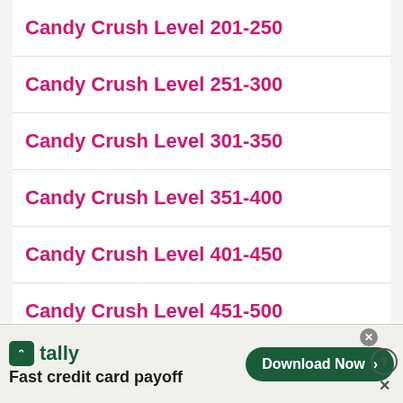Candy Crush Level 201-250
Candy Crush Level 251-300
Candy Crush Level 301-350
Candy Crush Level 351-400
Candy Crush Level 401-450
Candy Crush Level 451-500
Candy Crush Level 501-550
[Figure (advertisement): Tally app advertisement banner: tally logo with text 'Fast credit card payoff' and a 'Download Now' button in dark green]